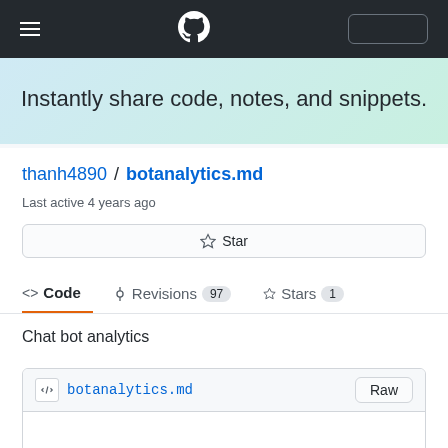[Figure (screenshot): GitHub navigation bar with hamburger menu, GitHub logo, and search box]
Instantly share code, notes, and snippets.
thanh4890 / botanalytics.md
Last active 4 years ago
Star
<> Code   -O- Revisions  97   Stars  1
Chat bot analytics
botanalytics.md   Raw